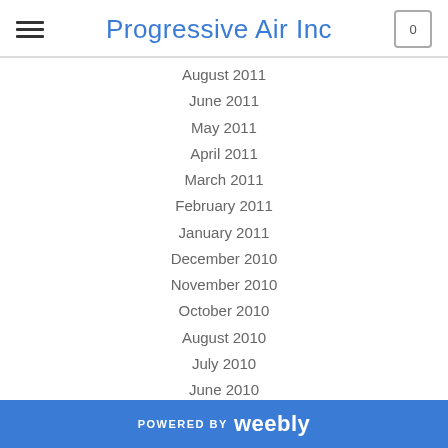Progressive Air Inc
August 2011
June 2011
May 2011
April 2011
March 2011
February 2011
January 2011
December 2010
November 2010
October 2010
August 2010
July 2010
June 2010
Categories
POWERED BY weebly